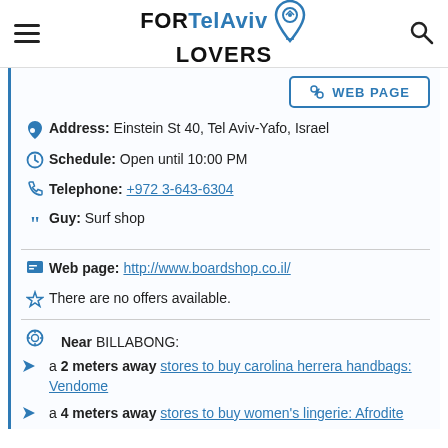FOR Tel Aviv LOVERS
WEB PAGE
Address: Einstein St 40, Tel Aviv-Yafo, Israel
Schedule: Open until 10:00 PM
Telephone: +972 3-643-6304
Guy: Surf shop
Web page: http://www.boardshop.co.il/
There are no offers available.
Near BILLABONG:
a 2 meters away stores to buy carolina herrera handbags: Vendome
a 4 meters away stores to buy women's lingerie: Afrodite